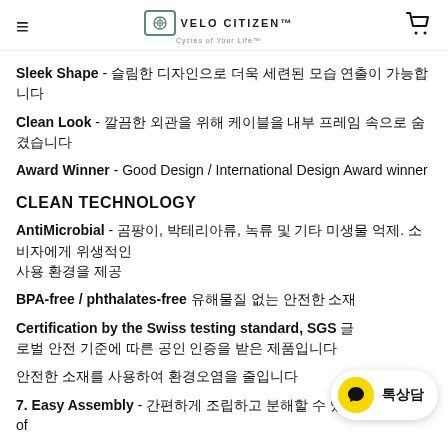VELO CITIZEN™
Sleek Shape - 슬림한 디자인으로 더욱 세련된 모습 연출이 가능합니다
Clean Look - 깔끔한 외관을 위해 케이블을 내부 프레임 속으로 숨겼습니다
Award Winner - Good Design / International Design Award winner
CLEAN TECHNOLOGY
AntiMicrobial - 곰팡이, 박테리아류, 녹류 및 기타 미생물 억제. 소비자에게 위생적인 사용 환경을 제공
BPA-free / phthalates-free 유해물질 없는 안전한 소재
Certification by the Swiss testing standard, SGS 글로벌 안전 기준에 따른 공인 인증을 받은 제품입니다
안전한 소재를 사용하여 환경오염을 줄입니다
7. Easy Assembly - 간편하게 조립하고 분해할 수 있습니다. Type of